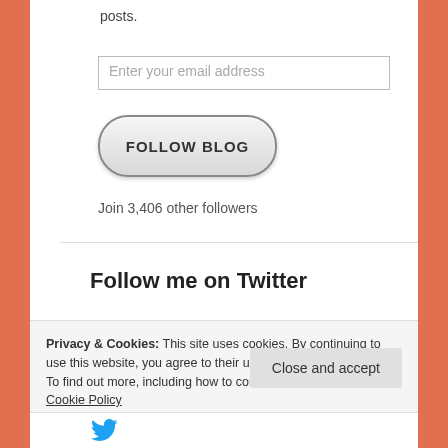posts.
[Figure (other): Email input field with placeholder text 'Enter your email address']
[Figure (other): FOLLOW BLOG button with rounded pill shape]
Join 3,406 other followers
Follow me on Twitter
Privacy & Cookies: This site uses cookies. By continuing to use this website, you agree to their use.
To find out more, including how to control cookies, see here: Cookie Policy
[Figure (other): Close and accept button]
[Figure (illustration): Twitter bird logo icon in blue]